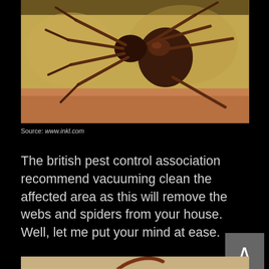[Figure (photo): Close-up photo of a brown spider with rounded abdomen on a sandy/rocky textured surface with reddish-brown stone]
Source: www.inkl.com
The british pest control association recommend vacuuming clean the affected area as this will remove the webs and spiders from your house. Well, let me put your mind at ease.
[Figure (photo): Partial photo at the bottom showing a spider leg on a light surface]